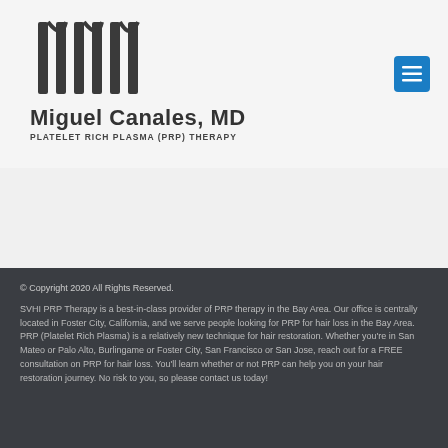[Figure (logo): Stylized M logo mark made of vertical bar shapes]
Miguel Canales, MD
PLATELET RICH PLASMA (PRP) THERAPY
[Figure (other): Blue menu/hamburger button in top right corner]
© Copyright 2020 All Rights Reserved.

SVHI PRP Therapy is a best-in-class provider of PRP therapy in the Bay Area. Our office is centrally located in Foster City, California, and we serve people looking for PRP for hair loss in the Bay Area. PRP (Platelet Rich Plasma) is a relatively new technique for hair restoration. Whether you're in San Mateo or Palo Alto, Burlingame or Foster City, San Francisco or San Jose, reach out for a FREE consultation on PRP for hair loss. You'll learn whether or not PRP can help you on your hair restoration journey. No risk to you, so please contact us today!